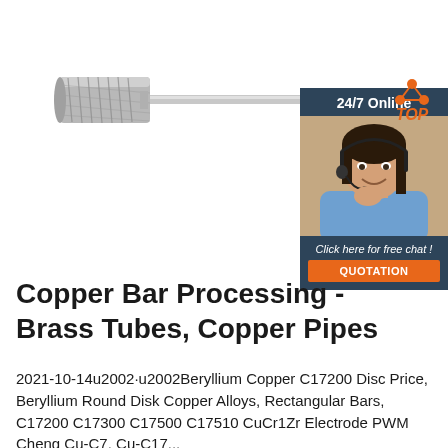[Figure (photo): Carbide rotary burr / cylindrical cutting tool with shank, and a customer support chat widget with a female representative wearing a headset, '24/7 Online' header, 'Click here for free chat!' text, and an orange QUOTATION button]
Copper Bar Processing - Brass Tubes, Copper Pipes
2021-10-14 u2002 Beryllium Copper C17200 Disc Price, Beryllium Round Disk Copper Alloys, Rectangular Bars, C17200 C17300 C17500 C17510 CuCr1Zr Electrode PWM Cheng Cu-C7, Cu-C17...